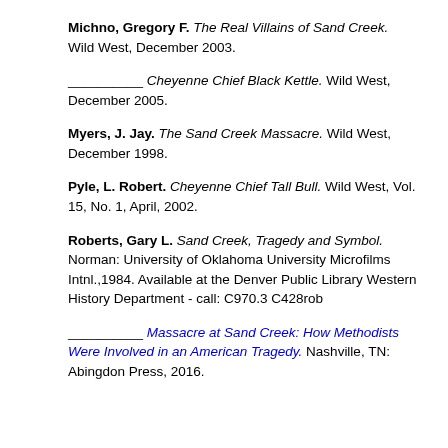Michno, Gregory F. The Real Villains of Sand Creek. Wild West, December 2003.
__________ Cheyenne Chief Black Kettle. Wild West, December 2005.
Myers, J. Jay. The Sand Creek Massacre. Wild West, December 1998.
Pyle, L. Robert. Cheyenne Chief Tall Bull. Wild West, Vol. 15, No. 1, April, 2002.
Roberts, Gary L. Sand Creek, Tragedy and Symbol. Norman: University of Oklahoma University Microfilms Intnl.,1984. Available at the Denver Public Library Western History Department - call: C970.3 C428rob
__________ Massacre at Sand Creek: How Methodists Were Involved in an American Tragedy. Nashville, TN: Abingdon Press, 2016.